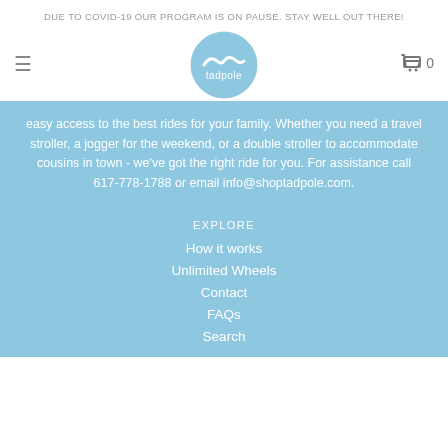DUE TO COVID-19 OUR PROGRAM IS ON PAUSE. STAY WELL OUT THERE!
[Figure (logo): Tadpole brand logo: circular blue badge with a stylized wave and the text 'tadpole']
easy access to the best rides for your family. Whether you need a travel stroller, a jogger for the weekend, or a double stroller to accommodate cousins in town - we've got the right ride for you. For assistance call 617-778-1788 or email info@shoptadpole.com.
EXPLORE
How it works
Unlimited Wheels
Contact
FAQs
Search